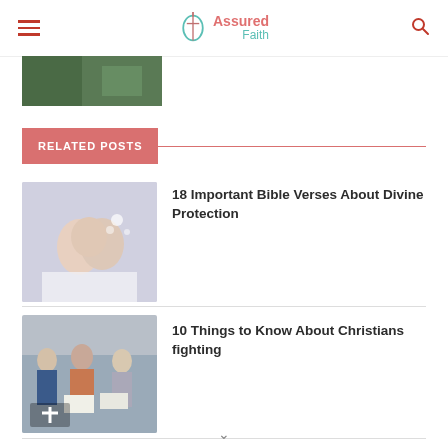Assured Faith
[Figure (photo): Partially visible photo at top of page, cropped from content above]
RELATED POSTS
[Figure (photo): Hands clasped together in prayer with sparkle/light effect]
18 Important Bible Verses About Divine Protection
[Figure (photo): Group of people sitting in a circle studying, reading together, with a cross icon overlay]
10 Things to Know About Christians fighting